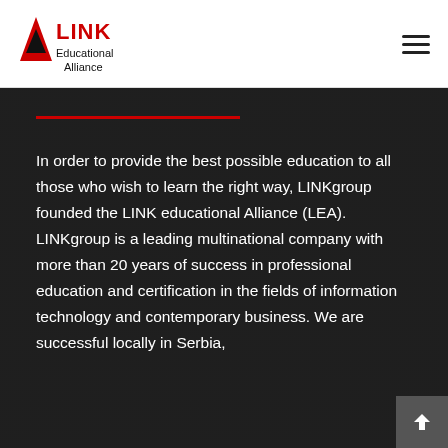[Figure (logo): LINK Educational Alliance logo — red triangle icon on left, 'LINK' in red bold text, 'Educational Alliance' in black text below]
In order to provide the best possible education to all those who wish to learn the right way, LINKgroup founded the LINK educational Alliance (LEA). LINKgroup is a leading multinational company with more than 20 years of success in professional education and certification in the fields of information technology and contemporary business. We are successful locally in Serbia,